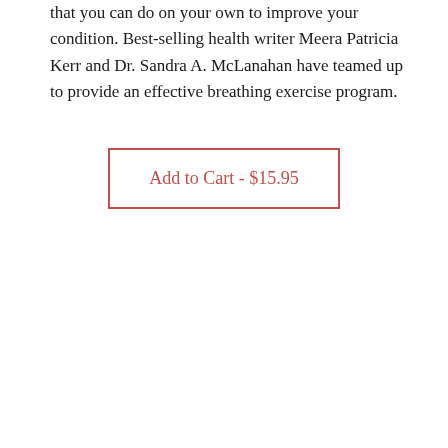that you can do on your own to improve your condition. Best-selling health writer Meera Patricia Kerr and Dr. Sandra A. McLanahan have teamed up to provide an effective breathing exercise program.
Add to Cart - $15.95